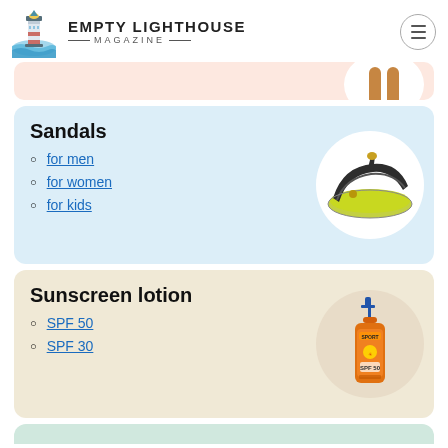EMPTY LIGHTHOUSE MAGAZINE
[Figure (photo): Partial pink card with product image at top (cropped)]
Sandals
for men
for women
for kids
[Figure (photo): Sandal (flip-flop) product image in white circle]
Sunscreen lotion
SPF 50
SPF 30
[Figure (photo): Orange sunscreen lotion bottle in circle]
[Figure (photo): Partial green card at bottom (cropped)]